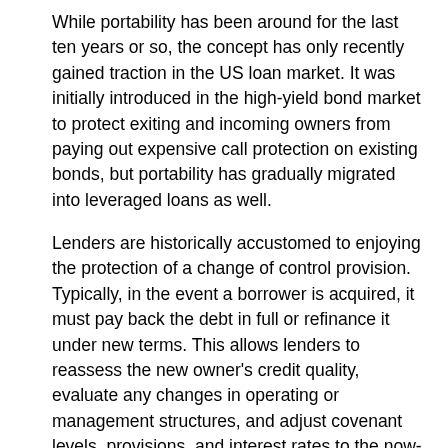While portability has been around for the last ten years or so, the concept has only recently gained traction in the US loan market. It was initially introduced in the high-yield bond market to protect exiting and incoming owners from paying out expensive call protection on existing bonds, but portability has gradually migrated into leveraged loans as well.
Lenders are historically accustomed to enjoying the protection of a change of control provision. Typically, in the event a borrower is acquired, it must pay back the debt in full or refinance it under new terms. This allows lenders to reassess the new owner's credit quality, evaluate any changes in operating or management structures, and adjust covenant levels, provisions, and interest rates to the now-prevailing market. Risk management aside, lenders also enjoy the fees that would